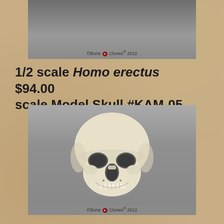[Figure (photo): Top partial photo of a Homo erectus skull model on gray background with Bone Clones copyright 2012 watermark]
1/2 scale Homo erectus scale Model Skull #KAM-05   $94.00
[Figure (photo): Front-facing photo of a 1/2 scale Homo erectus skull model (cream/white color) on gray background with Bone Clones copyright 2012 watermark at bottom]